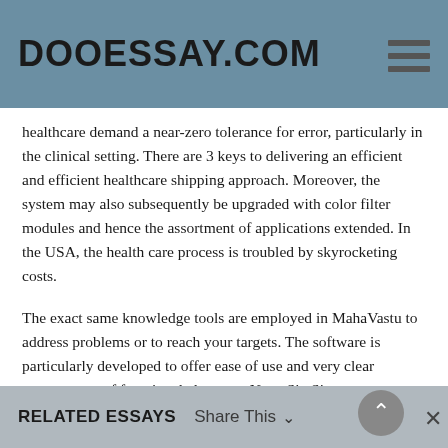DOOESSAY.COM
healthcare demand a near-zero tolerance for error, particularly in the clinical setting. There are 3 keys to delivering an efficient and efficient healthcare shipping approach. Moreover, the system may also subsequently be upgraded with color filter modules and hence the assortment of applications extended. In the USA, the health care process is troubled by skyrocketing costs.
The exact same knowledge tools are employed in MahaVastu to address problems or to reach your targets. The software is particularly developed to offer ease of use and very clear arrangement of functional elements. Now, Six Sigma applications are on the manner in all type of industries throughout the world. The resource requirements involved with bringing such projects to fruition is a big challenge.
RELATED ESSAYS   Share This